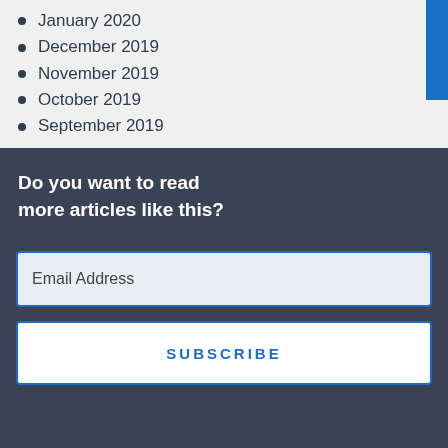January 2020
December 2019
November 2019
October 2019
September 2019
Do you want to read more articles like this?
Email Address
SUBSCRIBE